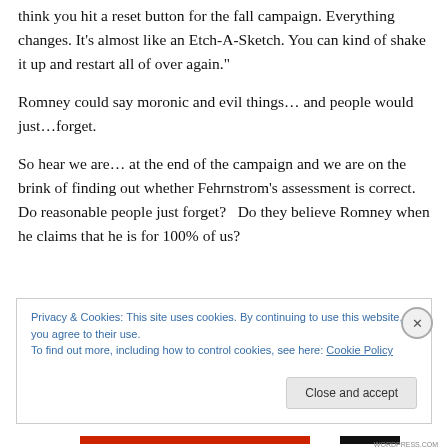think you hit a reset button for the fall campaign. Everything changes. It’s almost like an Etch-A-Sketch. You can kind of shake it up and restart all of over again.”
Romney could say moronic and evil things… and people would just…forget.
So hear we are… at the end of the campaign and we are on the brink of finding out whether Fehrnstrom’s assessment is correct.  Do reasonable people just forget?   Do they believe Romney when he claims that he is for 100% of us?
Privacy & Cookies: This site uses cookies. By continuing to use this website, you agree to their use.
To find out more, including how to control cookies, see here: Cookie Policy